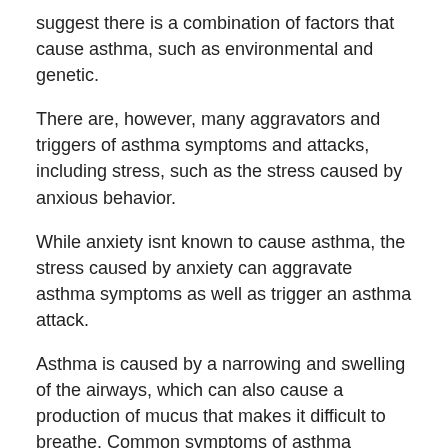suggest there is a combination of factors that cause asthma, such as environmental and genetic.
There are, however, many aggravators and triggers of asthma symptoms and attacks, including stress, such as the stress caused by anxious behavior.
While anxiety isnt known to cause asthma, the stress caused by anxiety can aggravate asthma symptoms as well as trigger an asthma attack.
Asthma is caused by a narrowing and swelling of the airways, which can also cause a production of mucus that makes it difficult to breathe. Common symptoms of asthma include difficulty breathing, as well as couching and wheezing.
Commo...